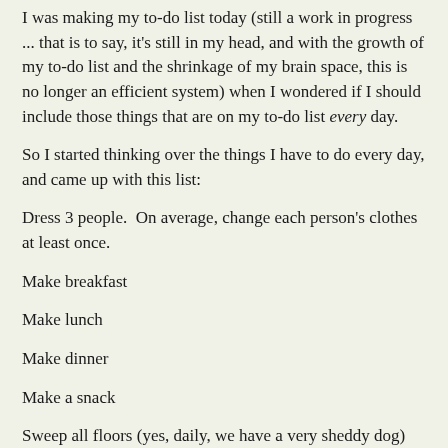I was making my to-do list today (still a work in progress ... that is to say, it's still in my head, and with the growth of my to-do list and the shrinkage of my brain space, this is no longer an efficient system) when I wondered if I should include those things that are on my to-do list every day.
So I started thinking over the things I have to do every day, and came up with this list:
Dress 3 people.  On average, change each person's clothes at least once.
Make breakfast
Make lunch
Make dinner
Make a snack
Sweep all floors (yes, daily, we have a very sheddy dog)